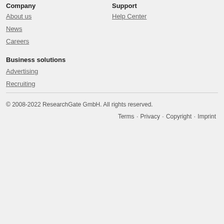Company
Support
About us
Help Center
News
Careers
Business solutions
Advertising
Recruiting
© 2008-2022 ResearchGate GmbH. All rights reserved.
Terms · Privacy · Copyright · Imprint